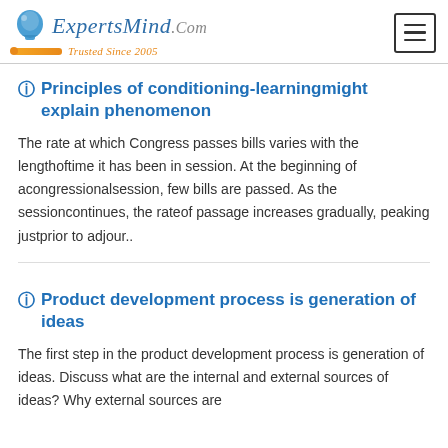ExpertsMind.Com — Trusted Since 2005
Principles of conditioning-learningmight explain phenomenon
The rate at which Congress passes bills varies with the lengthoftime it has been in session. At the beginning of acongressionalsession, few bills are passed. As the sessioncontinues, the rateof passage increases gradually, peaking justprior to adjour..
Product development process is generation of ideas
The first step in the product development process is generation of ideas. Discuss what are the internal and external sources of ideas? Why external sources are